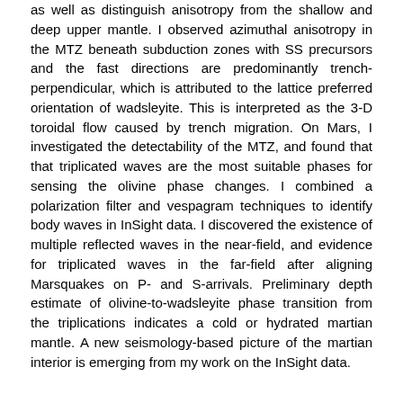as well as distinguish anisotropy from the shallow and deep upper mantle. I observed azimuthal anisotropy in the MTZ beneath subduction zones with SS precursors and the fast directions are predominantly trench-perpendicular, which is attributed to the lattice preferred orientation of wadsleyite. This is interpreted as the 3-D toroidal flow caused by trench migration. On Mars, I investigated the detectability of the MTZ, and found that that triplicated waves are the most suitable phases for sensing the olivine phase changes. I combined a polarization filter and vespagram techniques to identify body waves in InSight data. I discovered the existence of multiple reflected waves in the near-field, and evidence for triplicated waves in the far-field after aligning Marsquakes on P- and S-arrivals. Preliminary depth estimate of olivine-to-wadsleyite phase transition from the triplications indicates a cold or hydrated martian mantle. A new seismology-based picture of the martian interior is emerging from my work on the InSight data.
URI
http://hdl.handle.net/1903/26809
Collections